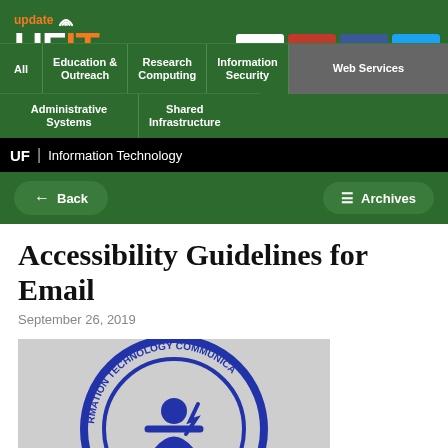[Figure (logo): Update UFIT logo with wifi signal lines, orange IT text]
[Figure (infographic): Navigation icons: We Are UFIT, Alerts (red), Facebook (blue), Twitter (blue)]
All | Education & Outreach | Research Computing | Information Security | Web Services | Administrative Systems | Shared Infrastructure
UF | Information Technology
Back  Archives
Accessibility Guidelines for Email
September 26, 2019
[Figure (illustration): Circular badge/seal showing Information Technology Communications with a person/accessibility icon in the center]